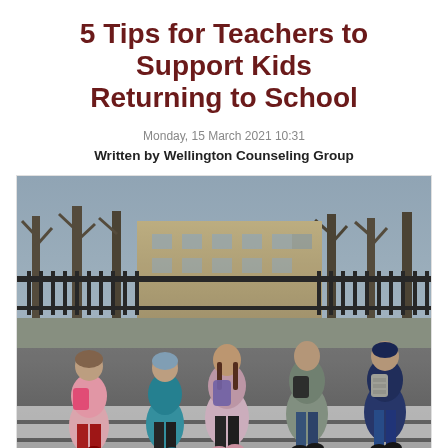5 Tips for Teachers to Support Kids Returning to School
Monday, 15 March 2021 10:31
Written by Wellington Counseling Group
[Figure (photo): Five children with backpacks walking away from the camera across a crosswalk, heading toward a school, with trees and iron fence in the background.]